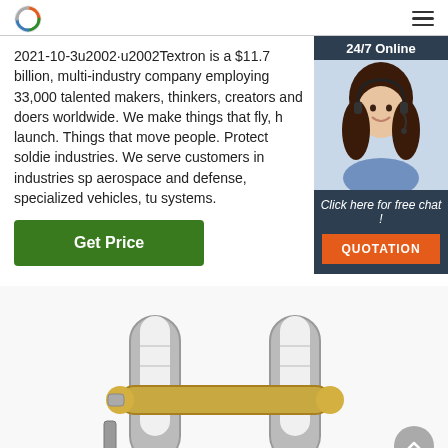[Logo] [Hamburger menu]
2021-10-3u2002·u2002Textron is a $11.7 billion, multi-industry company employing 33,000 talented makers, thinkers, creators and doers worldwide. We make things that fly, h launch. Things that move people. Protect soldie industries. We serve customers in industries sp aerospace and defense, specialized vehicles, tu systems.
[Figure (photo): Chat widget with '24/7 Online' label, a smiling female customer service agent wearing a headset, 'Click here for free chat!' text, and an orange QUOTATION button]
Get Price
[Figure (photo): Industrial metal chain link component — appears to be a forged steel clevis or connecting link with gold/brass colored pin, shown on white background]